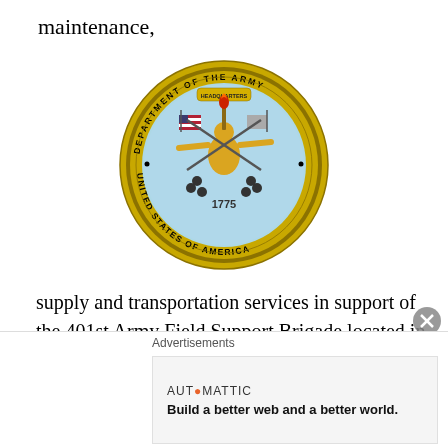maintenance,
[Figure (logo): Official seal of the Department of the Army, United States of America, established 1775. Circular gold and blue seal with eagle, flags, cannon, and torch imagery.]
supply and transportation services in support of the 401st Army Field Support Brigade located in Afghanistan. Work will be performed in Afghanistan, with an estimated completion date of Jan. 27, 2014. The bid was solicited through the Internet, with three bids received. The Army Contracting Command, Rock Island, Ill., is the contracting
Advertisements
AUTOMATTIC
Build a better web and a better world.